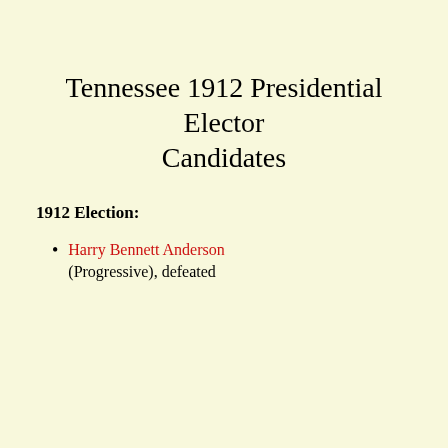Tennessee 1912 Presidential Elector Candidates
1912 Election:
Harry Bennett Anderson (Progressive), defeated